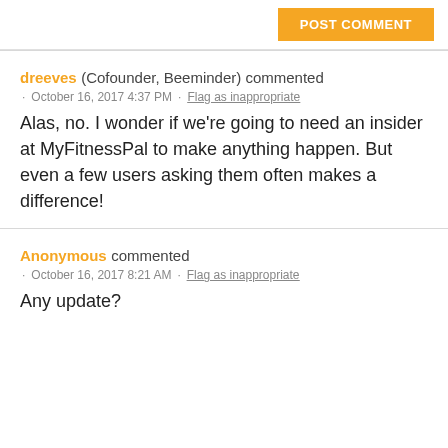POST COMMENT
dreeves (Cofounder, Beeminder) commented · October 16, 2017 4:37 PM · Flag as inappropriate
Alas, no. I wonder if we're going to need an insider at MyFitnessPal to make anything happen. But even a few users asking them often makes a difference!
Anonymous commented · October 16, 2017 8:21 AM · Flag as inappropriate
Any update?